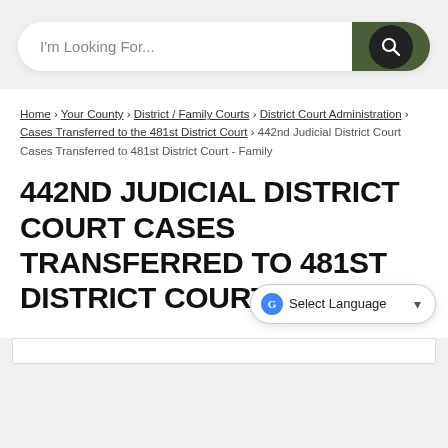[Figure (screenshot): Search bar with placeholder text 'I'm Looking For...' and a dark olive green search button with a magnifying glass icon on a circle]
Home › Your County › District / Family Courts › District Court Administration › Cases Transferred to the 481st District Court › 442nd Judicial District Court Cases Transferred to 481st District Court - Family
442ND JUDICIAL DISTRICT COURT CASES TRANSFERRED TO 481ST DISTRICT COURT -
[Figure (screenshot): Google Translate widget showing 'Select Language' with a dropdown arrow]